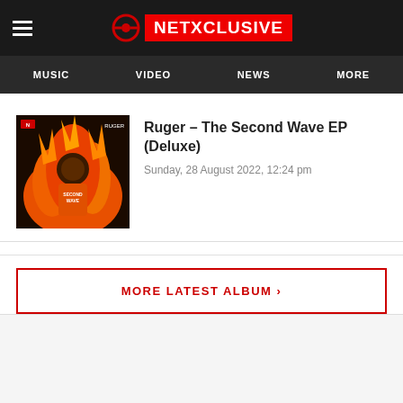NETXCLUSIVE
MUSIC  VIDEO  NEWS  MORE
Ruger – The Second Wave EP (Deluxe)
Sunday, 28 August 2022, 12:24 pm
[Figure (photo): Album cover art for Ruger - The Second Wave EP (Deluxe), showing a person surrounded by flames with orange tones]
MORE LATEST ALBUM ›